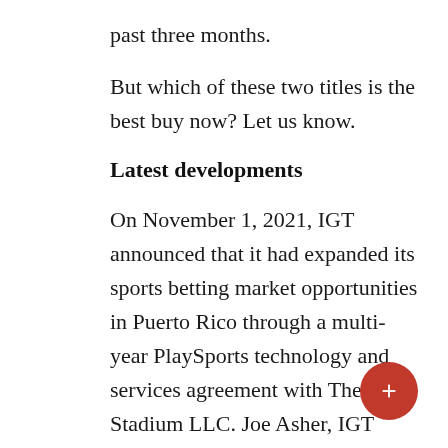past three months.
But which of these two titles is the best buy now? Let us know.
Latest developments
On November 1, 2021, IGT announced that it had expanded its sports betting market opportunities in Puerto Rico through a multi-year PlaySports technology and services agreement with The Stadium LLC. Joe Asher, IGT President of Sports Betting, said, “The prospect of adding Puerto Rico